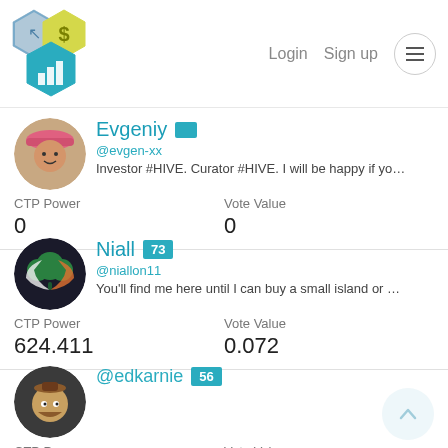Login  Sign up
Evgeniy @evgen-xx
Investor #HIVE. Curator #HIVE. I will be happy if you #subscrit
CTP Power: 0  Vote Value: 0
Niall 73 @niallon11
You'll find me here until I can buy a small island or we all go do
CTP Power: 624.411  Vote Value: 0.072
@edkarnie 56
CTP Power: 26000  Vote Value: 3.004